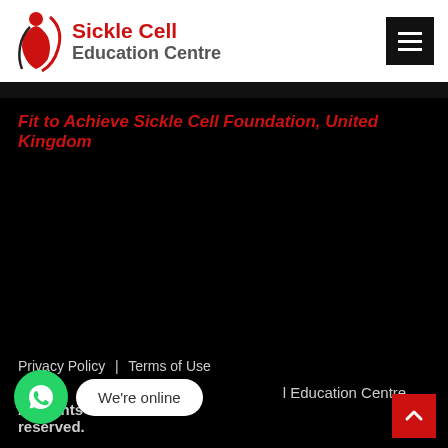Sickle Cell Education Centre
Fit to Achieve Sickle Cell Foundation, United Kingdom
Privacy Policy | Terms of Use
Copyright Sickle Cell Education Centre. All rights reserved.